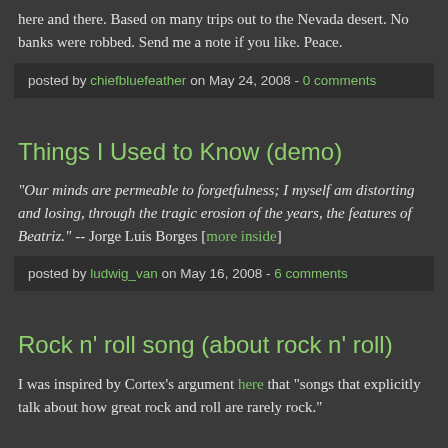here and there. Based on many trips out to the Nevada desert. No banks were robbed. Send me a note if you like. Peace.
posted by chiefbluefeather on May 24, 2008 - 0 comments
Things I Used to Know (demo)
"Our minds are permeable to forgetfulness; I myself am distorting and losing, through the tragic erosion of the years, the features of Beatriz." -- Jorge Luis Borges [more inside]
posted by ludwig_van on May 16, 2008 - 6 comments
Rock n' roll song (about rock n' roll)
I was inspired by Cortex's argument here that "songs that explicitly talk about how great rock and roll are rarely rock."